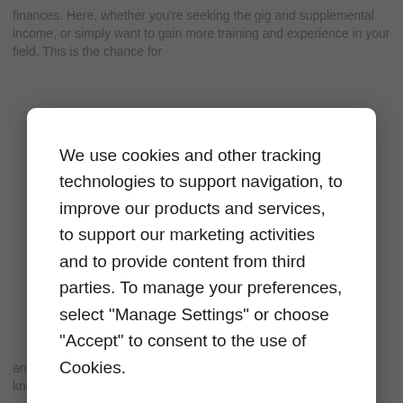finances. Here, whether you're seeking the gig and supplemental income, or simply want to gain more training and experience in your field. This is the chance for
We use cookies and other tracking technologies to support navigation, to improve our products and services, to support our marketing activities and to provide content from third parties. To manage your preferences, select "Manage Settings" or choose "Accept" to consent to the use of Cookies.
Accept
Manage Settings
and providing the quality care and services to the members. Also known as Payment Integrity Audits (PIAs,